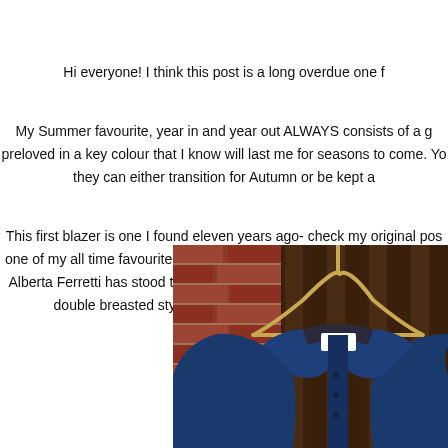Hi everyone! I think this post is a long overdue one f
My Summer favourite, year in and year out ALWAYS consists of a g preloved in a key colour that I know will last me for seasons to come. Yo they can either transition for Autumn or be kept a
This first blazer is one I found eleven years ago- check my original pos one of my all time favourite finds and I always wear it every Summer. A Alberta Ferretti has stood the test of time in quality and style in my wa double breasted style and this style never dates, so tim
[Figure (photo): A navy blue double-breasted blazer hanging on a wooden/tan hanger against a red brick wall and dark wooden fence background. The blazer shows a white label inside the collar.]